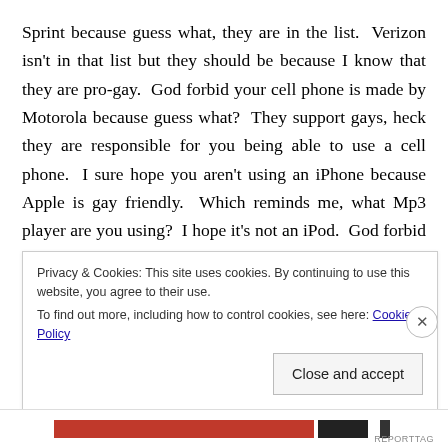Sprint because guess what, they are in the list.  Verizon isn't in that list but they should be because I know that they are pro-gay.  God forbid your cell phone is made by Motorola because guess what?  They support gays, heck they are responsible for you being able to use a cell phone.  I sure hope you aren't using an iPhone because Apple is gay friendly.  Which reminds me, what Mp3 player are you using?  I hope it's not an iPod.  God forbid you have an iPad or a Macintosh computer or even a Windows based computer or tablet for that
Privacy & Cookies: This site uses cookies. By continuing to use this website, you agree to their use.
To find out more, including how to control cookies, see here: Cookie Policy

Close and accept